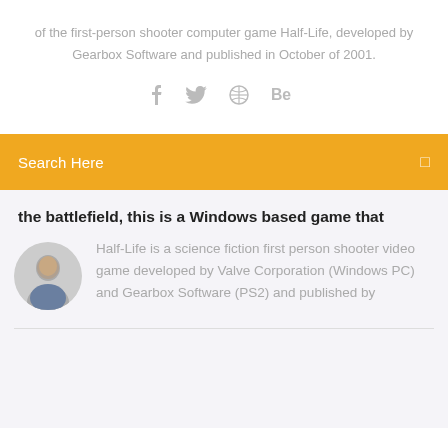of the first-person shooter computer game Half-Life, developed by Gearbox Software and published in October of 2001.
[Figure (other): Social media icons: Facebook, Twitter, a circular icon, and Behance]
Search Here
the battlefield, this is a Windows based game that
[Figure (photo): Circular avatar photo of a man]
Half-Life is a science fiction first person shooter video game developed by Valve Corporation (Windows PC) and Gearbox Software (PS2) and published by